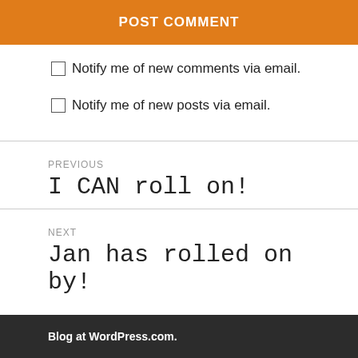POST COMMENT
Notify me of new comments via email.
Notify me of new posts via email.
PREVIOUS
I CAN roll on!
NEXT
Jan has rolled on by!
Blog at WordPress.com.